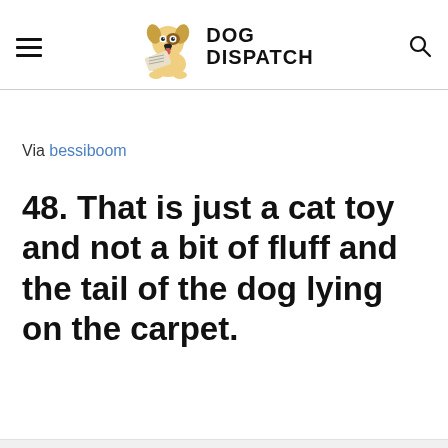DOG DISPATCH
Via bessiboom
48. That is just a cat toy and not a bit of fluff and the tail of the dog lying on the carpet.